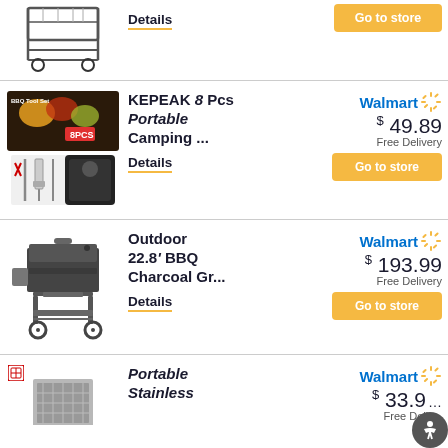[Figure (photo): Partial product row at top: grill/cart image with Details link]
Details
[Figure (photo): Walmart Go to store button (top row)]
[Figure (photo): KEPEAK 8 Pcs BBQ Tool Set product image]
KEPEAK 8 Pcs Portable Camping ...
Details
Walmart $49.89 Free Delivery
Go to store
[Figure (photo): Outdoor 22.8 BBQ Charcoal Grill product image]
Outdoor 22.8' BBQ Charcoal Gr...
Details
Walmart $193.99 Free Delivery
Go to store
[Figure (photo): Portable Stainless grill product image (partial)]
Portable Stainless
Walmart $33.9... Free Deliv...